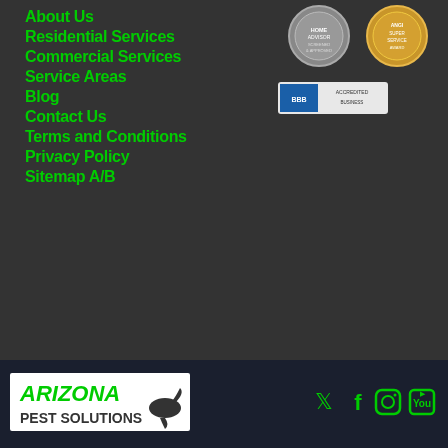About Us
Residential Services
Commercial Services
Service Areas
Blog
Contact Us
Terms and Conditions
Privacy Policy
Sitemap A/B
[Figure (logo): Gray circular certification/accreditation badge]
[Figure (logo): Gold circular award badge - Angi/Angieslist type award]
[Figure (logo): Blue and white accreditation strip badge]
[Figure (logo): Arizona Pest Solutions logo with green text and scorpion graphic]
[Figure (logo): Social media icons: Twitter, Facebook, Instagram, YouTube in green]